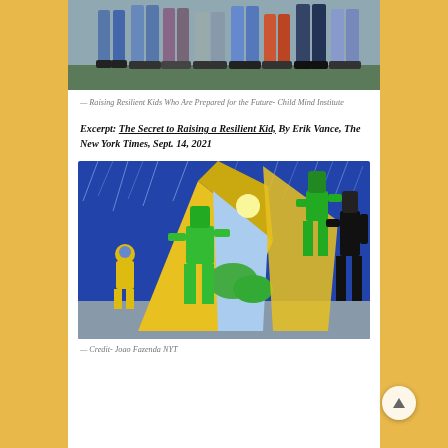[Figure (photo): Group of children and teens from the waist down, walking together outdoors on grass, wearing jeans and casual clothes]
— Raising Resilient Kids Who Are Prepared for the Future- Child Mind Institute
Excerpt: The Secret to Raising a Resilient Kid, By Erik Vance, The New York Times, Sept. 14, 2021
[Figure (illustration): Colorful illustration showing stylized green and yellow geometric figures (people) in a storm, holding open a large triangular yellow shelter/tent revealing a calm sunny landscape inside. A small figure in a yellow raincoat stands to the left. Credit- Joao Fazenda NYT]
— Credit- Joao Fazenda NYT